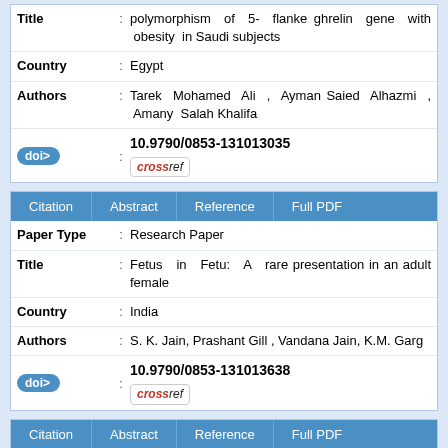| Field |  | Value |
| --- | --- | --- |
| Title | : | polymorphism of 5- flanke ghrelin gene with obesity in Saudi subjects |
| Country | : | Egypt |
| Authors | : | Tarek Mohamed Ali , Ayman Saied Alhazmi , Amany Salah Khalifa |
| doi> | : | 10.9790/0853-131013035 crossref |
| Citation | Abstract | Reference | Full PDF |
| --- | --- | --- | --- |
| Paper Type | : | Research Paper |
| Title | : | Fetus in Fetu: A rare presentation in an adult female |
| Country | : | India |
| Authors | : | S. K. Jain, Prashant Gill , Vandana Jain, K.M. Garg |
| doi> | : | 10.9790/0853-131013638 crossref |
| Citation | Abstract | Reference | Full PDF |
| --- | --- | --- | --- |
| Paper Type | : | Research Paper |